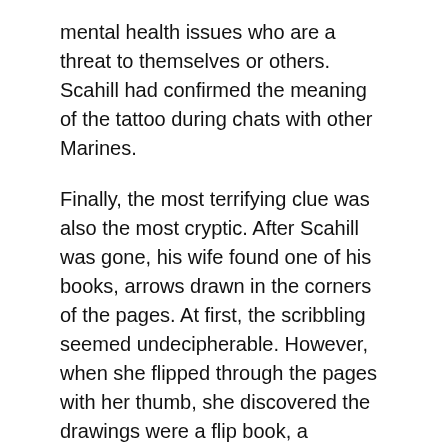mental health issues who are a threat to themselves or others. Scahill had confirmed the meaning of the tattoo during chats with other Marines.
Finally, the most terrifying clue was also the most cryptic. After Scahill was gone, his wife found one of his books, arrows drawn in the corners of the pages. At first, the scribbling seemed undecipherable. However, when she flipped through the pages with her thumb, she discovered the drawings were a flip book, a rudimentary cartoon where stick figures played out a gruesome suicide scene.
Genevieve had seen this before. It was the same scene she and deputies had found in the backyard.